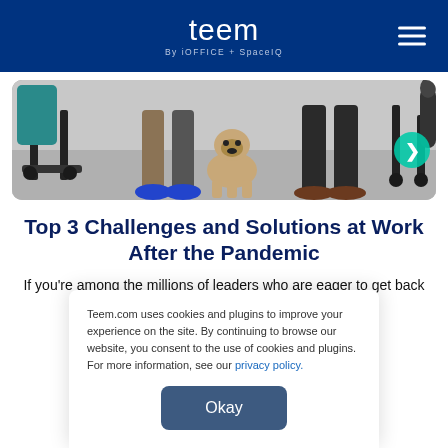teem By iOFFICE + SpaceIQ
[Figure (photo): Office scene showing chair legs, a pug dog on the floor, people's feet and legs, and a microphone on the right side. A teal/green circular arrow button visible on the right edge.]
Top 3 Challenges and Solutions at Work After the Pandemic
If you're among the millions of leaders who are eager to get back to face-to-face interaction, then it's time to start
Teem.com uses cookies and plugins to improve your experience on the site. By continuing to browse our website, you consent to the use of cookies and plugins. For more information, see our privacy policy.
Okay